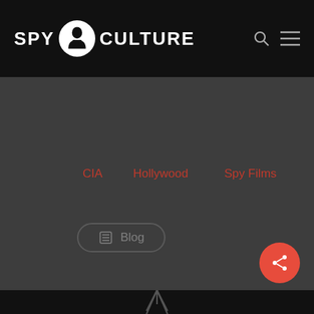SPY CULTURE
CIA
Hollywood
Spy Films
Blog
[Figure (illustration): Red circular share button with share icon at bottom right]